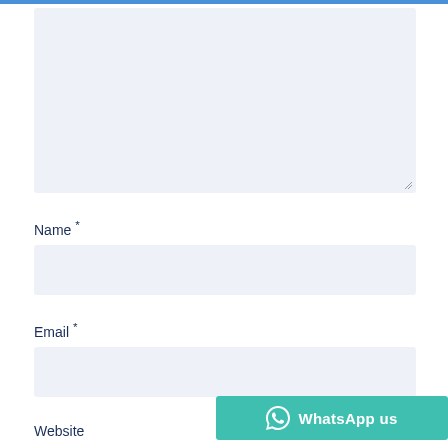[Figure (screenshot): Large textarea input field with light blue background, with a resize handle at bottom-right corner]
Name *
[Figure (screenshot): Name input field with light blue background]
Email *
[Figure (screenshot): Email input field with light blue background]
Website
[Figure (screenshot): WhatsApp us button with teal background and WhatsApp icon]